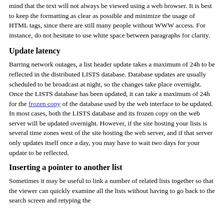mind that the text will not always be viewed using a web browser. It is best to keep the formatting as clear as possible and minimize the usage of HTML tags, since there are still many people without WWW access. For instance, do not hesitate to use white space between paragraphs for clarity.
Update latency
Barring network outages, a list header update takes a maximum of 24h to be reflected in the distributed LISTS database. Database updates are usually scheduled to be broadcast at night, so the changes take place overnight. Once the LISTS database has been updated, it can take a maximum of 24h for the frozen copy of the database used by the web interface to be updated. In most cases, both the LISTS database and its frozen copy on the web server will be updated overnight. However, if the site hosting your lists is several time zones west of the site hosting the web server, and if that server only updates itself once a day, you may have to wait two days for your update to be reflected.
Inserting a pointer to another list
Sometimes it may be useful to link a number of related lists together so that the viewer can quickly examine all the lists without having to go back to the search screen and retyping the